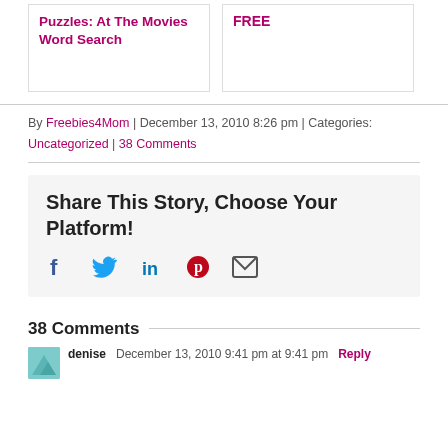Puzzles: At The Movies Word Search
FREE
By Freebies4Mom | December 13, 2010 8:26 pm | Categories: Uncategorized | 38 Comments
Share This Story, Choose Your Platform!
[Figure (infographic): Social share icons: Facebook, Twitter, LinkedIn, Pinterest, Email]
38 Comments
denise  December 13, 2010 9:41 pm at 9:41 pm  Reply